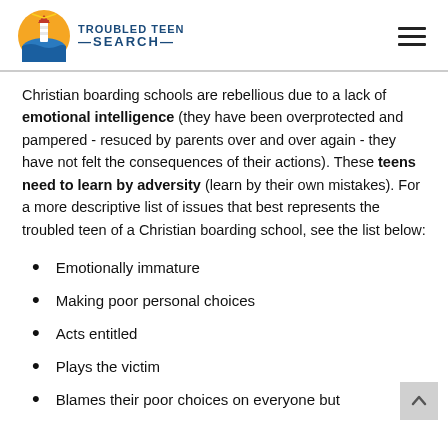TROUBLED TEEN SEARCH
Christian boarding schools are rebellious due to a lack of emotional intelligence (they have been overprotected and pampered - resuced by parents over and over again - they have not felt the consequences of their actions).  These teens need to learn by adversity (learn by their own mistakes).  For a more descriptive list of issues that best represents the troubled teen of a Christian boarding school, see the list below:
Emotionally immature
Making poor personal choices
Acts entitled
Plays the victim
Blames their poor choices on everyone but themselves